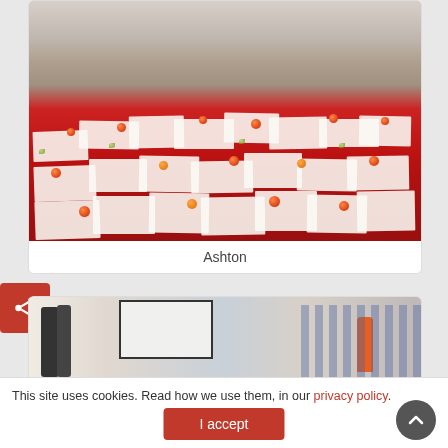[Figure (photo): Large indoor gathering of people seated cross-legged on a red carpet/floor with white paper sheets and apples arranged in front of them]
Ashton
[Figure (photo): Another indoor gathering scene showing people seated in a room with whiteboards visible]
This site uses cookies. Read how we use them, in our privacy policy.